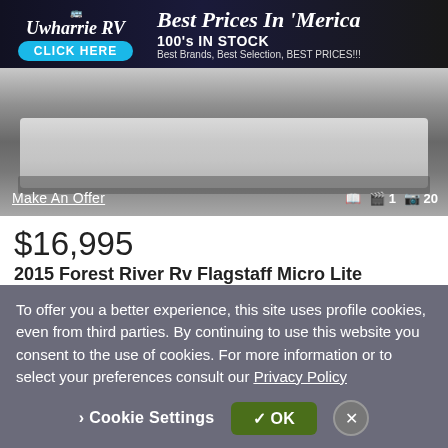[Figure (screenshot): Advertisement banner for Uwharrie RV with text 'Best Prices In Merica', '100's IN STOCK', 'Best Brands, Best Selection, BEST PRICES!!!', and a 'CLICK HERE' button]
[Figure (photo): Photo of a white travel trailer/RV on a lot with 'Make An Offer' link and image count icons showing 1 video and 20 photos]
$16,995
2015 Forest River Rv Flagstaff Micro Lite 21FBRS
Best Choice Trailers
Irwin, PA - 148 mi. away
Chat
Email
Call
To offer you a better experience, this site uses profile cookies, even from third parties. By continuing to use this website you consent to the use of cookies. For more information or to select your preferences consult our Privacy Policy
Cookie Settings
OK